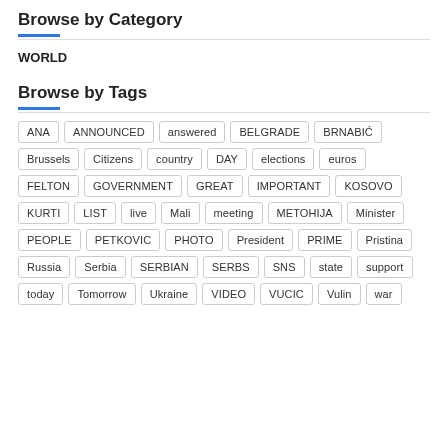Browse by Category
WORLD
Browse by Tags
ANA
ANNOUNCED
answered
BELGRADE
BRNABIĆ
Brussels
Citizens
country
DAY
elections
euros
FELTON
GOVERNMENT
GREAT
IMPORTANT
KOSOVO
KURTI
LIST
live
Mali
meeting
METOHIJA
Minister
PEOPLE
PETKOVIC
PHOTO
President
PRIME
Pristina
Russia
Serbia
SERBIAN
SERBS
SNS
state
support
today
Tomorrow
Ukraine
VIDEO
VUCIC
Vulin
war